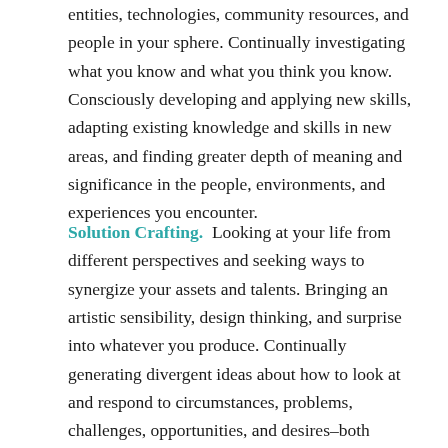entities, technologies, community resources, and people in your sphere. Continually investigating what you know and what you think you know. Consciously developing and applying new skills, adapting existing knowledge and skills in new areas, and finding greater depth of meaning and significance in the people, environments, and experiences you encounter.
Solution Crafting. Looking at your life from different perspectives and seeking ways to synergize your assets and talents. Bringing an artistic sensibility, design thinking, and surprise into whatever you produce. Continually generating divergent ideas about how to look at and respond to circumstances, problems, challenges, opportunities, and desires–both individually and collaboratively. . . . .